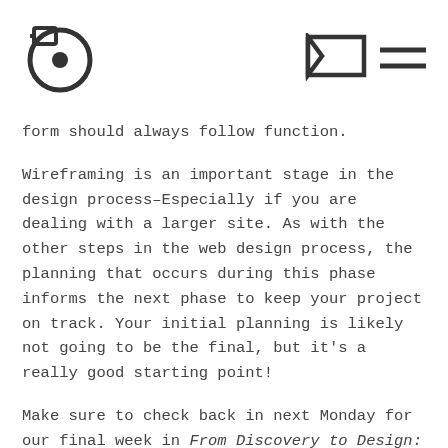[Figure (logo): Circular logo with inner circle and letter-like shape on the left; wireframe/browser icon and hamburger menu icon on the right]
form should always follow function.
Wireframing is an important stage in the design process–Especially if you are dealing with a larger site. As with the other steps in the web design process, the planning that occurs during this phase informs the next phase to keep your project on track. Your initial planning is likely not going to be the final, but it's a really good starting point!
Make sure to check back in next Monday for our final week in From Discovery to Design: 5 crucial steps for planning your website!